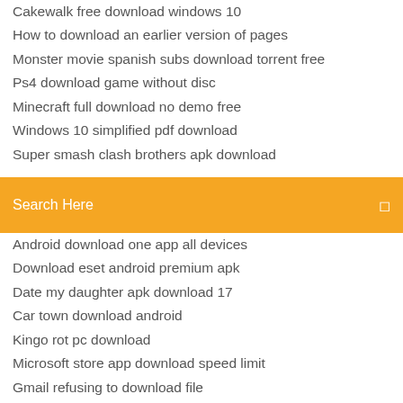Cakewalk free download windows 10
How to download an earlier version of pages
Monster movie spanish subs download torrent free
Ps4 download game without disc
Minecraft full download no demo free
Windows 10 simplified pdf download
Super smash clash brothers apk download
Search Here
Android download one app all devices
Download eset android premium apk
Date my daughter apk download 17
Car town download android
Kingo rot pc download
Microsoft store app download speed limit
Gmail refusing to download file
Download free app bluetooth for laptop
Date my daughter apk download 17
Programming in ansi c 6th edition pdf download